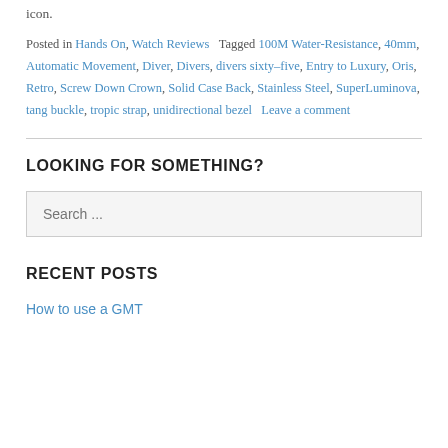icon.
Posted in Hands On, Watch Reviews   Tagged 100M Water-Resistance, 40mm, Automatic Movement, Diver, Divers, divers sixty-five, Entry to Luxury, Oris, Retro, Screw Down Crown, Solid Case Back, Stainless Steel, SuperLuminova, tang buckle, tropic strap, unidirectional bezel   Leave a comment
LOOKING FOR SOMETHING?
Search ...
RECENT POSTS
How to use a GMT